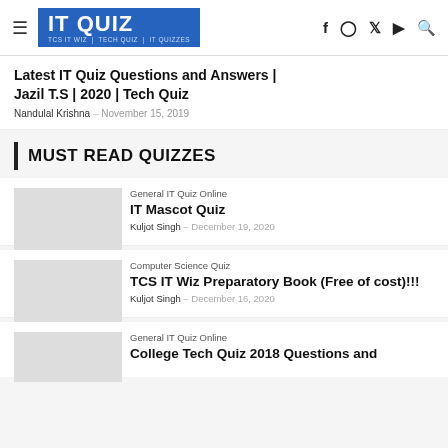IT QUIZ | TCS IT WIZ | TECH QUIZ | IT QUIZZES
Latest IT Quiz Questions and Answers | Jazil T.S | 2020 | Tech Quiz
Nandulal Krishna – November 15, 2019
MUST READ QUIZZES
General IT Quiz Online
IT Mascot Quiz
Kuljot Singh – December 19, 2020
Computer Science Quiz
TCS IT Wiz Preparatory Book (Free of cost)!!!
Kuljot Singh – December 16, 2020
General IT Quiz Online
College Tech Quiz 2018 Questions and